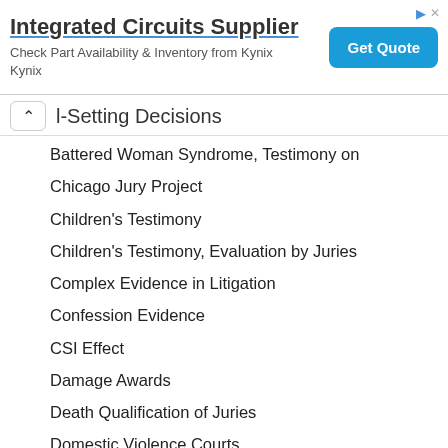[Figure (screenshot): Advertisement banner for Integrated Circuits Supplier by Kynix with a 'Get Quote' button]
l-Setting Decisions
Battered Woman Syndrome, Testimony on
Chicago Jury Project
Children's Testimony
Children's Testimony, Evaluation by Juries
Complex Evidence in Litigation
Confession Evidence
CSI Effect
Damage Awards
Death Qualification of Juries
Domestic Violence Courts
Drug Courts
“Dynamite Charge”
Elderly Defendants
Expert Psychological Testimony
Expert Psychological Testimony, Admissibility Standards